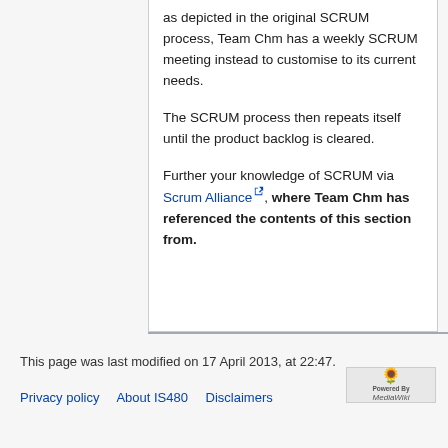as depicted in the original SCRUM process, Team Chm has a weekly SCRUM meeting instead to customise to its current needs.
The SCRUM process then repeats itself until the product backlog is cleared.
Further your knowledge of SCRUM via Scrum Alliance, where Team Chm has referenced the contents of this section from.
This page was last modified on 17 April 2013, at 22:47.
Privacy policy   About IS480   Disclaimers